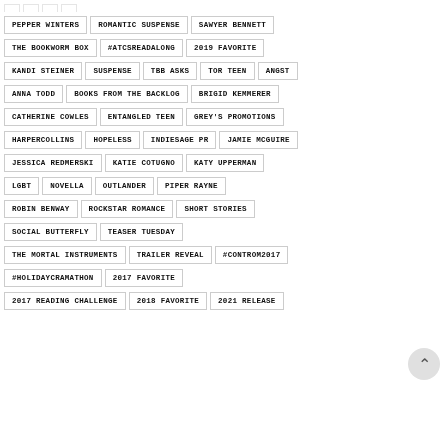PEPPER WINTERS
ROMANTIC SUSPENSE
SAWYER BENNETT
THE BOOKWORM BOX
#ATCSREADALONG
2019 FAVORITE
KANDI STEINER
SUSPENSE
TBB ASKS
TOR TEEN
ANGST
ANNA TODD
BOOKS FROM THE BACKLOG
BRIGID KEMMERER
CATHERINE COWLES
ENTANGLED TEEN
GREY'S PROMOTIONS
HARPERCOLLINS
HOPELESS
INDIESAGE PR
JAMIE MCGUIRE
JESSICA REDMERSKI
KATIE COTUGNO
KATY UPPERMAN
LGBT
NOVELLA
OUTLANDER
PIPER RAYNE
ROBIN BENWAY
ROCKSTAR ROMANCE
SHORT STORIES
SOCIAL BUTTERFLY
TEASER TUESDAY
THE MORTAL INSTRUMENTS
TRAILER REVEAL
#CONTROM2017
#HOLIDAYCRAMATHON
2017 FAVORITE
2017 READING CHALLENGE
2018 FAVORITE
2021 RELEASE